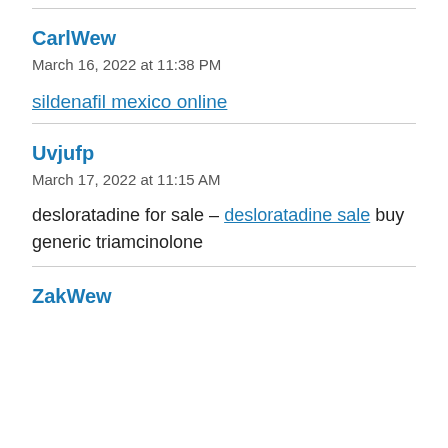CarlWew
March 16, 2022 at 11:38 PM
sildenafil mexico online
Uvjufp
March 17, 2022 at 11:15 AM
desloratadine for sale – desloratadine sale buy generic triamcinolone
ZakWew